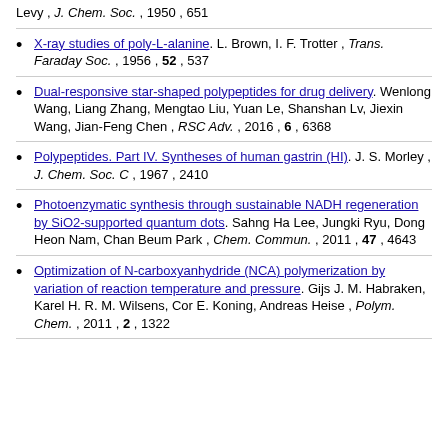Levy , J. Chem. Soc. , 1950 , 651
X-ray studies of poly-L-alanine. L. Brown, I. F. Trotter , Trans. Faraday Soc. , 1956 , 52 , 537
Dual-responsive star-shaped polypeptides for drug delivery. Wenlong Wang, Liang Zhang, Mengtao Liu, Yuan Le, Shanshan Lv, Jiexin Wang, Jian-Feng Chen , RSC Adv. , 2016 , 6 , 6368
Polypeptides. Part IV. Syntheses of human gastrin (HI). J. S. Morley , J. Chem. Soc. C , 1967 , 2410
Photoenzymatic synthesis through sustainable NADH regeneration by SiO2-supported quantum dots. Sahng Ha Lee, Jungki Ryu, Dong Heon Nam, Chan Beum Park , Chem. Commun. , 2011 , 47 , 4643
Optimization of N-carboxyanhydride (NCA) polymerization by variation of reaction temperature and pressure. Gijs J. M. Habraken, Karel H. R. M. Wilsens, Cor E. Koning, Andreas Heise , Polym. Chem. , 2011 , 2 , 1322